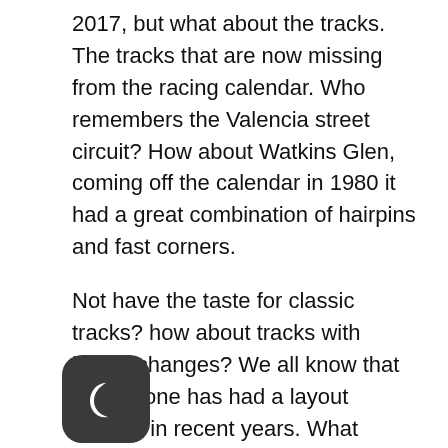2017, but what about the tracks. The tracks that are now missing from the racing calendar. Who remembers the Valencia street circuit? How about Watkins Glen, coming off the calendar in 1980 it had a great combination of hairpins and fast corners.
Not have the taste for classic tracks? how about tracks with layout changes? We all know that Silverstone has had a layout change in recent years. What about the German GP at the Hockenheimring? The layout of this track was dramatically changed in 2002, much to the displeasure of drivers and fans.
There are so many classic tracks that could be brought back to the game, yes the new laser scanning technology used to get inch perfect tracks these days